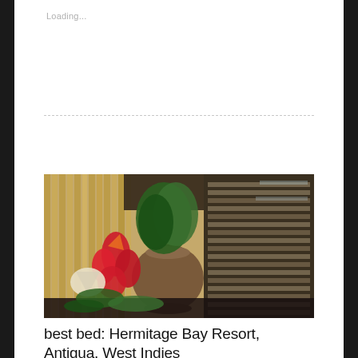Loading...
[Figure (photo): Tropical flower arrangement with red ginger flowers, bird of paradise, green foliage in a clay pot, against a bamboo wall and wooden louvered window]
best bed: Hermitage Bay Resort, Antigua, West Indies